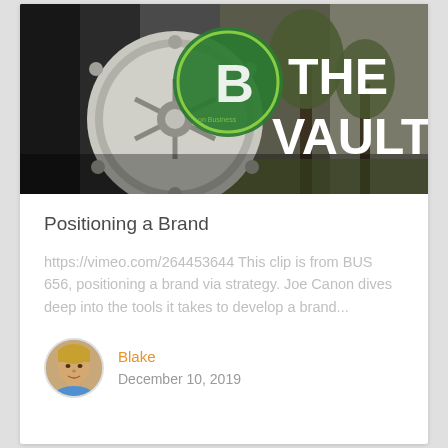[Figure (photo): Banner image showing a large bank vault door on the left with a green circular logo containing the letter B, and bold white text reading 'THE VAULT' on the right. Background shows trees and a building exterior with dark overlay.]
Positioning a Brand
https://vimeo.com/264453644 This clip is from BUS 656, positioning a brand via strategy. Joe Canon dives deep into the tools it takes to develop a brand...
Blake
December 10, 2019